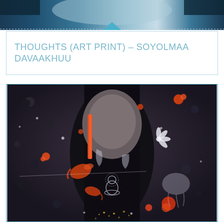[Figure (photo): Top strip showing partial artwork - blue and teal tones, abstract painting fragment]
THOUGHTS (ART PRINT) – SOYOLMAA DAVAAKHUU
[Figure (photo): Art print titled 'Thoughts' by Soyolmaa Davaakhuu. Painting depicting a meditative face/figure on dark background with koi fish, white flowers, a small Buddha figure, scattered orange and black dots, and ethereal white wisps. Mixed media artwork with black, orange, white, and gold tones.]